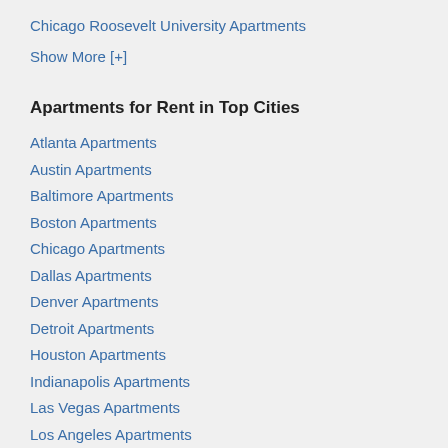Chicago Roosevelt University Apartments
Show More [+]
Apartments for Rent in Top Cities
Atlanta Apartments
Austin Apartments
Baltimore Apartments
Boston Apartments
Chicago Apartments
Dallas Apartments
Denver Apartments
Detroit Apartments
Houston Apartments
Indianapolis Apartments
Las Vegas Apartments
Los Angeles Apartments